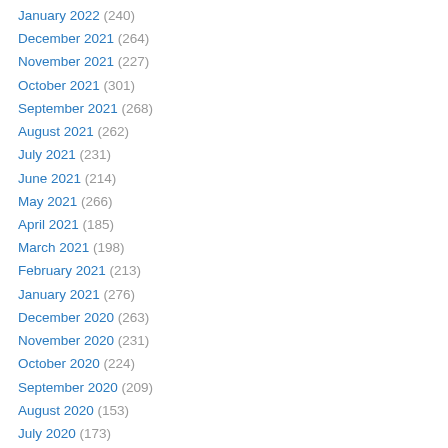January 2022 (240)
December 2021 (264)
November 2021 (227)
October 2021 (301)
September 2021 (268)
August 2021 (262)
July 2021 (231)
June 2021 (214)
May 2021 (266)
April 2021 (185)
March 2021 (198)
February 2021 (213)
January 2021 (276)
December 2020 (263)
November 2020 (231)
October 2020 (224)
September 2020 (209)
August 2020 (153)
July 2020 (173)
June 2020 (228)